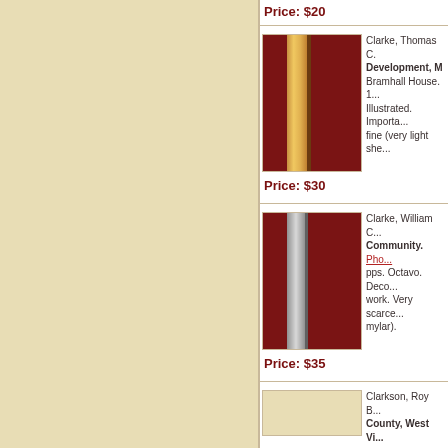Price: $20
[Figure (photo): Book spine photo on dark red/maroon background - Clarke Thomas book]
Clarke, Thomas C. Development, M... Bramhall House. 1... Illustrated. Importa... fine (very light she...
Price: $30
[Figure (photo): Book spine photo on dark red/maroon background - Clarke William book]
Clarke, William C... Community. Pho... pps. Octavo. Deco... work. Very scarce... mylar).
Price: $35
[Figure (photo): Book photo - Clarkson Roy B.]
Clarkson, Roy B... County, West Vi...